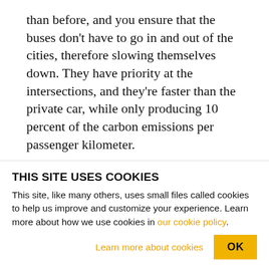than before, and you ensure that the buses don't have to go in and out of the cities, therefore slowing themselves down. They have priority at the intersections, and they're faster than the private car, while only producing 10 percent of the carbon emissions per passenger kilometer.
JAY: Would you ban the oil-burning combustion engine?
MONBIOT: I could do that only if you have another...
THIS SITE USES COOKIES
This site, like many others, uses small files called cookies to help us improve and customize your experience. Learn more about how we use cookies in our cookie policy.
Learn more about cookies
OK